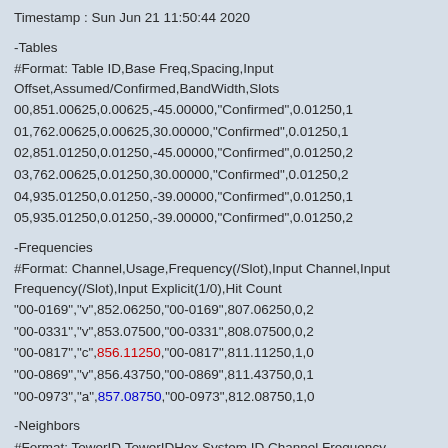Timestamp : Sun Jun 21 11:50:44 2020
-Tables
#Format: Table ID,Base Freq,Spacing,Input Offset,Assumed/Confirmed,BandWidth,Slots
00,851.00625,0.00625,-45.00000,"Confirmed",0.01250,1
01,762.00625,0.00625,30.00000,"Confirmed",0.01250,1
02,851.01250,0.01250,-45.00000,"Confirmed",0.01250,2
03,762.00625,0.01250,30.00000,"Confirmed",0.01250,2
04,935.01250,0.01250,-39.00000,"Confirmed",0.01250,1
05,935.01250,0.01250,-39.00000,"Confirmed",0.01250,2
-Frequencies
#Format: Channel,Usage,Frequency(/Slot),Input Channel,Input Frequency(/Slot),Input Explicit(1/0),Hit Count
"00-0169","v",852.06250,"00-0169",807.06250,0,2
"00-0331","v",853.07500,"00-0331",808.07500,0,2
"00-0817","c",856.11250,"00-0817",811.11250,1,0
"00-0869","v",856.43750,"00-0869",811.43750,0,1
"00-0973","a",857.08750,"00-0973",812.08750,1,0
-Neighbors
#Format: TowerID,TowerIDHex,System ID,Channel,Frequency
143,"T012B",57e,"00-0467",853.92500
144,"T012C",57e,"00-0349",853.18750